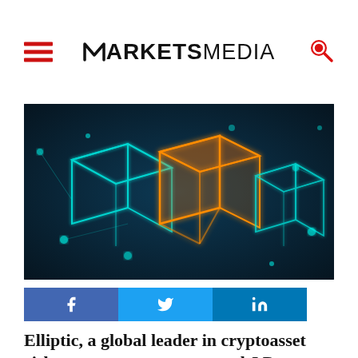MARKETS MEDIA
[Figure (photo): Glowing blockchain/cube structure with teal and orange neon lights on dark background]
[Figure (infographic): Social sharing buttons: Facebook, Twitter, LinkedIn]
Elliptic, a global leader in cryptoasset risk management, announced J.P. Morgan as a...